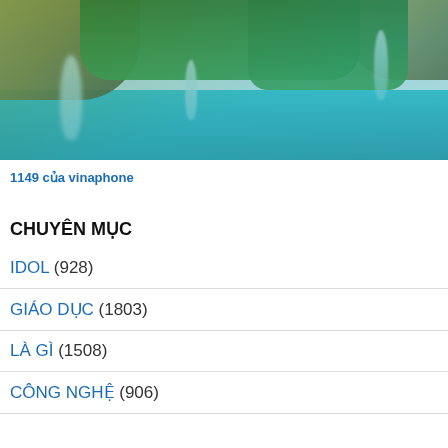[Figure (photo): Scenic waterfall landscape with turquoise lake and lush green trees on rocky cliffs]
1149 của vinaphone
CHUYÊN MỤC
IDOL (928)
GIÁO DỤC (1803)
LÀ GÌ (1508)
CÔNG NGHỆ (906)